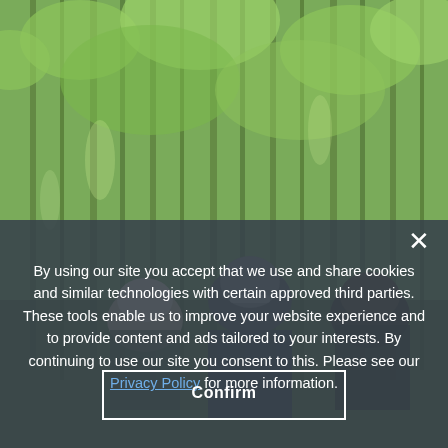[Figure (photo): Outdoor forest/jungle scene with tall bamboo or eucalyptus trees and green foliage; three people visible in the foreground wearing helmets and dark clothing, partially obscured by a dark overlay]
By using our site you accept that we use and share cookies and similar technologies with certain approved third parties. These tools enable us to improve your website experience and to provide content and ads tailored to your interests. By continuing to use our site you consent to this. Please see our Privacy Policy for more information.
Confirm